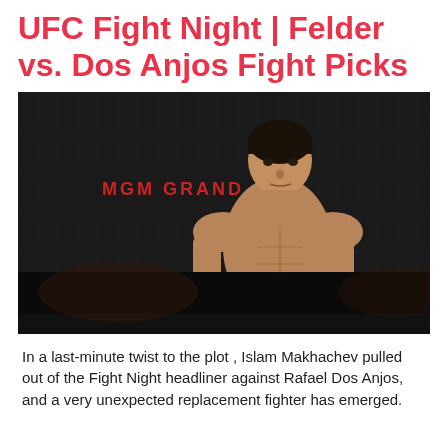UFC Fight Night | Felder vs. Dos Anjos Fight Picks
[Figure (photo): UFC fighter Rafael Dos Anjos standing shirtless in the octagon cage, wearing UFC gloves and dark shorts, with 'MGM GRAND' signage visible in the background.]
In a last-minute twist to the plot , Islam Makhachev pulled out of the Fight Night headliner against Rafael Dos Anjos, and a very unexpected replacement fighter has emerged.